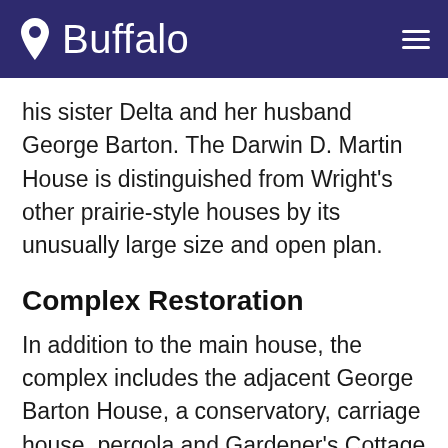Buffalo
his sister Delta and her husband George Barton. The Darwin D. Martin House is distinguished from Wright's other prairie-style houses by its unusually large size and open plan.
Complex Restoration
In addition to the main house, the complex includes the adjacent George Barton House, a conservatory, carriage house, pergola and Gardener's Cottage